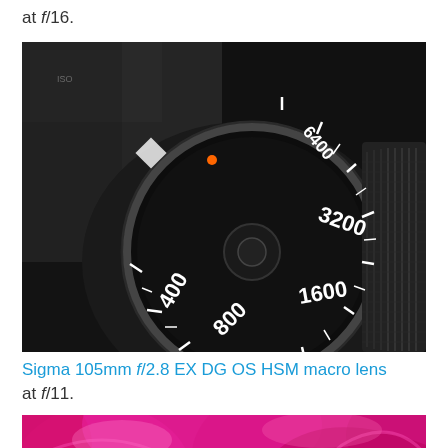at f/16.
[Figure (photo): Close-up macro photograph of a camera ISO dial showing numbers 400, 800, 1600, 3200, 6400 on a black dial with white markings]
Sigma 105mm f/2.8 EX DG OS HSM macro lens at f/11.
[Figure (photo): Close-up macro photograph of a pink/magenta rose flower]